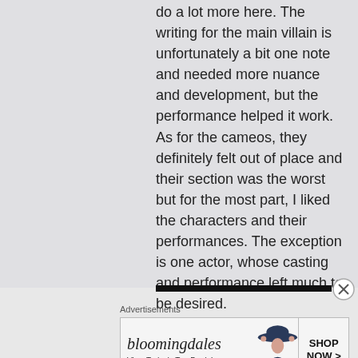do a lot more here. The writing for the main villain is unfortunately a bit one note and needed more nuance and development, but the performance helped it work. As for the cameos, they definitely felt out of place and their section was the worst but for the most part, I liked the characters and their performances. The exception is one actor, whose casting and performance left much to be desired.
[Figure (other): Advertisement banner for Bloomingdale's with logo, tagline 'View Today's Top Deals!', a model wearing a wide-brim hat, and a 'SHOP NOW >' call-to-action button]